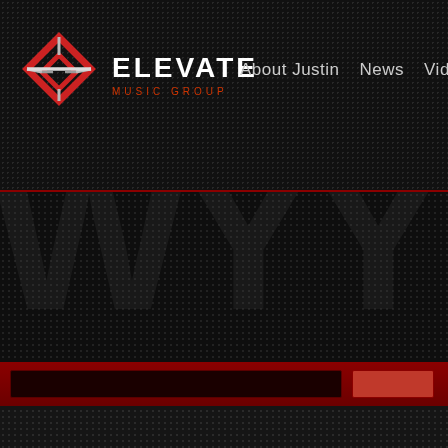[Figure (screenshot): Elevate Music Group website header screenshot. Dark textured dot-grid background. Logo on left: red and silver diamond/chevron geometric icon with 'ELEVATE' in white bold text and 'MUSIC GROUP' in red small caps below. Navigation links on right: 'About Justin', 'News', 'Vide...' (truncated). A thin red horizontal line separates the header from the dark main content area. A large ghost-letter watermark of initials is visible in the dark main area. At the bottom is a dark red footer bar with a text input field and a button.]